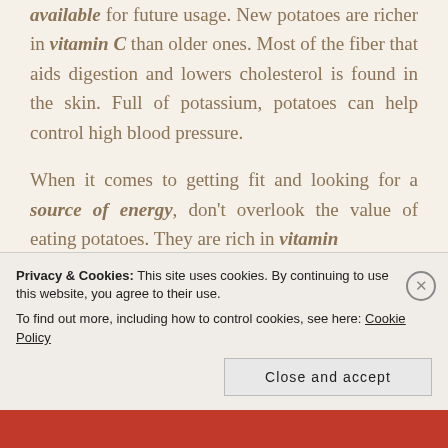available for future usage. New potatoes are richer in vitamin C than older ones. Most of the fiber that aids digestion and lowers cholesterol is found in the skin. Full of potassium, potatoes can help control high blood pressure.
When it comes to getting fit and looking for a source of energy, don't overlook the value of eating potatoes. They are rich in vitamin
Privacy & Cookies: This site uses cookies. By continuing to use this website, you agree to their use. To find out more, including how to control cookies, see here: Cookie Policy